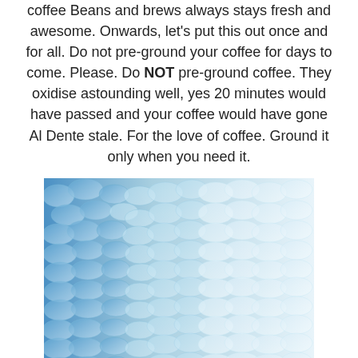coffee Beans and brews always stays fresh and awesome. Onwards, let's put this out once and for all. Do not pre-ground your coffee for days to come. Please. Do NOT pre-ground coffee. They oxidise astounding well, yes 20 minutes would have passed and your coffee would have gone Al Dente stale. For the love of coffee. Ground it only when you need it.
[Figure (photo): A close-up photograph of ice cubes/crushed ice, showing a gradient from blue-tinted ice on the left to white/clear ice on the right, filling the image frame.]